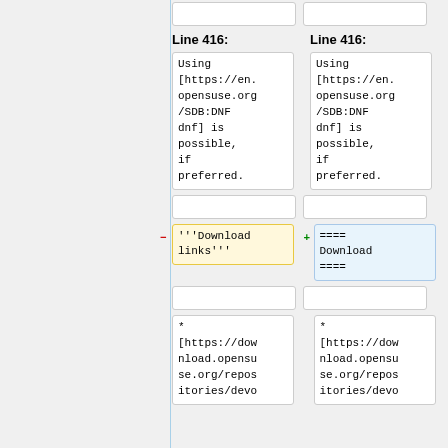Line 416: (left column)
Line 416: (right column)
Using [https://en.opensuse.org/SDB:DNF dnf] is possible, if preferred.
Using [https://en.opensuse.org/SDB:DNF dnf] is possible, if preferred.
'''Download links''' (deleted, yellow highlight, - marker)
==== Download ==== (added, blue highlight, + marker)
* [https://download.opensuse.org/repositories/dow...
* [https://download.opensuse.org/repositories/dow...